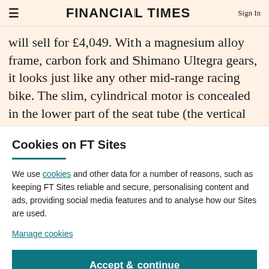FINANCIAL TIMES
will sell for £4,049. With a magnesium alloy frame, carbon fork and Shimano Ultegra gears, it looks just like any other mid-range racing bike. The slim, cylindrical motor is concealed in the lower part of the seat tube (the vertical
Cookies on FT Sites
We use cookies and other data for a number of reasons, such as keeping FT Sites reliable and secure, personalising content and ads, providing social media features and to analyse how our Sites are used.
Manage cookies
Accept & continue